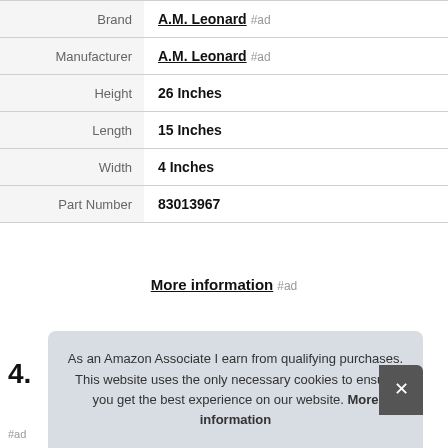| Label | Value |
| --- | --- |
| Brand | A.M. Leonard #ad |
| Manufacturer | A.M. Leonard #ad |
| Height | 26 Inches |
| Length | 15 Inches |
| Width | 4 Inches |
| Part Number | 83013967 |
More information #ad
4.
As an Amazon Associate I earn from qualifying purchases. This website uses the only necessary cookies to ensure you get the best experience on our website. More information